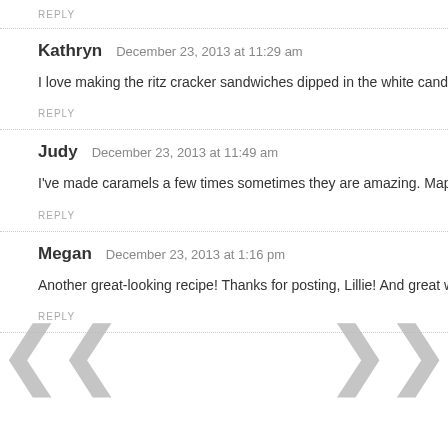REPLY
Kathryn   December 23, 2013 at 11:29 am
I love making the ritz cracker sandwiches dipped in the white candy co... friends. It's become a tradition in my family!
REPLY
Judy   December 23, 2013 at 11:49 am
I've made caramels a few times sometimes they are amazing. Maple fu...
REPLY
Megan   December 23, 2013 at 1:16 pm
Another great-looking recipe! Thanks for posting, Lillie! And great work...
REPLY